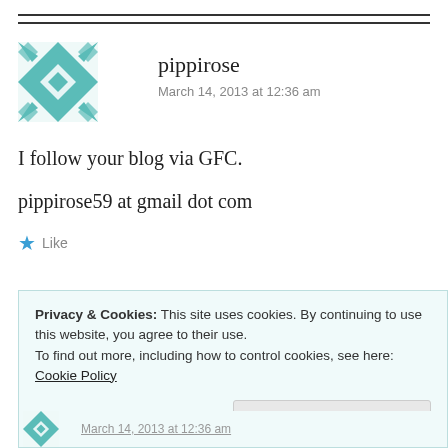[Figure (illustration): Decorative quilt-pattern avatar for user pippirose in teal/white geometric pattern]
pippirose
March 14, 2013 at 12:36 am
I follow your blog via GFC.
pippirose59 at gmail dot com
★ Like
Privacy & Cookies: This site uses cookies. By continuing to use this website, you agree to their use.
To find out more, including how to control cookies, see here: Cookie Policy
Close and accept